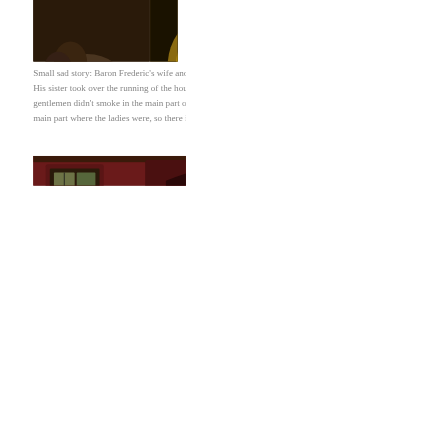[Figure (photo): Three decorative bronze/gilded elephant figurines and ornate clock sculptures displayed in glass cases]
Small sad story: Baron Frederic's wife and child died in childbirth and he never remarried.
His sister took over the running of the house, and his sister decided that proper Victorian gentlemen didn't smoke in the main part of the house and certainly, bachelors didn't stay in the main part where the ladies were, so there is a dedicated bachelor's wing of the house.
[Figure (photo): Interior room with red walls, decorative framed pictures, and ornate furnishings]